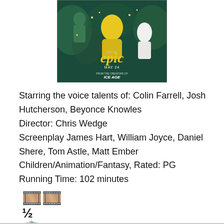[Figure (photo): Movie poster for 'Epic' animated film, showing animated characters with 'epic' title, 'MAY 24', and 'From the creators of Ice Age']
Starring the voice talents of: Colin Farrell, Josh Hutcherson, Beyonce Knowles
Director: Chris Wedge
Screenplay James Hart, William Joyce, Daniel Shere, Tom Astle, Matt Ember
Children/Animation/Fantasy, Rated: PG
Running Time: 102 minutes
[Figure (other): Film reel emoji icon, fraction one-half symbol, and red shield/superhero emoji icon representing a rating graphic]